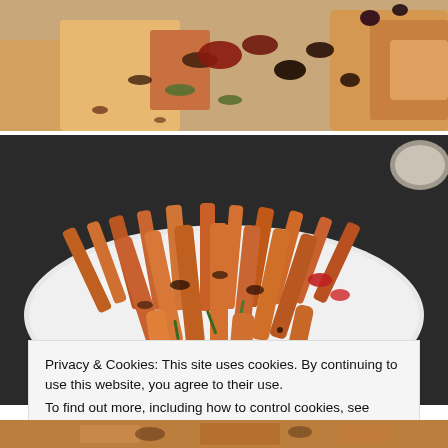[Figure (photo): Top portion of a food photo showing a dish with vegetables, sauce, and bread on a plate, cropped at top]
[Figure (photo): Photo of roasted or stir-fried sweet potato fries/wedges with vegetables and sauce on a white plate, on a dark surface]
Privacy & Cookies: This site uses cookies. By continuing to use this website, you agree to their use.
To find out more, including how to control cookies, see here: Cookie Policy
Close and accept
[Figure (photo): Bottom portion of another food photo, partially visible at the bottom of the page]